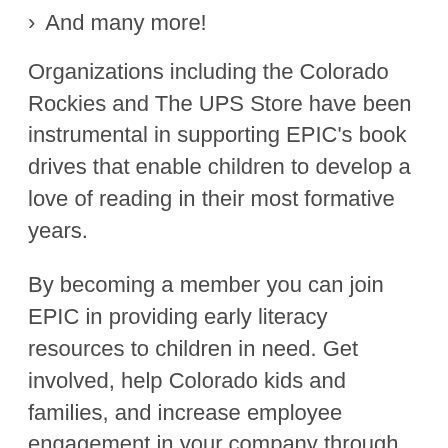And many more!
Organizations including the Colorado Rockies and The UPS Store have been instrumental in supporting EPIC's book drives that enable children to develop a love of reading in their most formative years.
By becoming a member you can join EPIC in providing early literacy resources to children in need. Get involved, help Colorado kids and families, and increase employee engagement in your company through volunteer opportunities. You can make a difference! Click here to become a